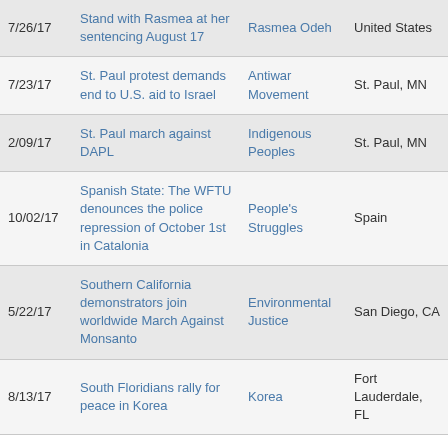| 7/26/17 | Stand with Rasmea at her sentencing August 17 | Rasmea Odeh | United States |
| 7/23/17 | St. Paul protest demands end to U.S. aid to Israel | Antiwar Movement | St. Paul, MN |
| 2/09/17 | St. Paul march against DAPL | Indigenous Peoples | St. Paul, MN |
| 10/02/17 | Spanish State: The WFTU denounces the police repression of October 1st in Catalonia | People's Struggles | Spain |
| 5/22/17 | Southern California demonstrators join worldwide March Against Monsanto | Environmental Justice | San Diego, CA |
| 8/13/17 | South Floridians rally for peace in Korea | Korea | Fort Lauderdale, FL |